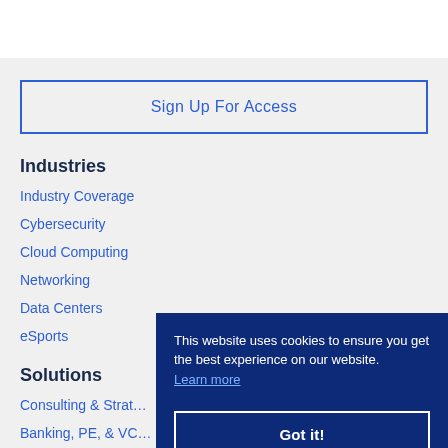Sign Up For Access
Industries
Industry Coverage
Cybersecurity
Cloud Computing
Networking
Data Centers
eSports
Solutions
Consulting & Strat…
Banking, PE, & VC…
Sales & Marketing…
This website uses cookies to ensure you get the best experience on our website. Learn more
Got it!